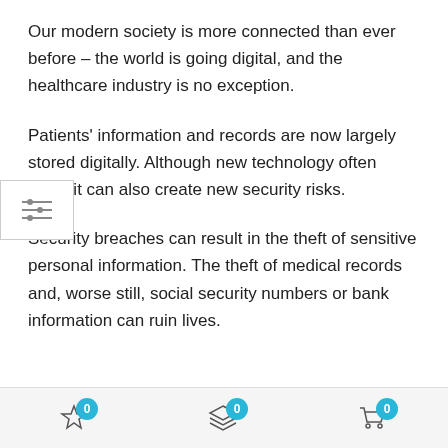Our modern society is more connected than ever before – the world is going digital, and the healthcare industry is no exception.
Patients' information and records are now largely stored digitally. Although new technology often helps it can also create new security risks.
Security breaches can result in the theft of sensitive personal information. The theft of medical records and, worse still, social security numbers or bank information can ruin lives.
0  0  0